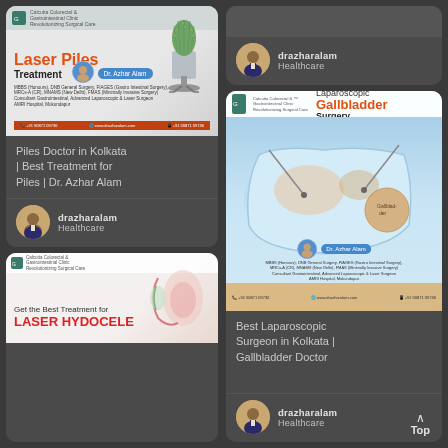[Figure (photo): Laser Piles Treatment medical advertisement card with cactus-on-chair image, Dr. Azhar Alam details, qualifications and contact info]
Piles Doctor in Kolkata | Best Treatment for Piles | Dr. Azhar Alam
[Figure (photo): Profile avatar of drazharalam Healthcare author]
drazharalam
Healthcare
[Figure (photo): Laparoscopic Gallbladder Surgery medical advertisement card with anatomy image, Dr. Azhar Alam details]
Best Laparoscopic Surgeon in Kolkata | Gallbladder Doctor
[Figure (photo): Profile avatar of drazharalam Healthcare author]
drazharalam
Healthcare
[Figure (photo): Top card right column showing drazharalam Healthcare profile]
drazharalam
Healthcare
[Figure (photo): Laser Hydrocele treatment advertisement card partial view]